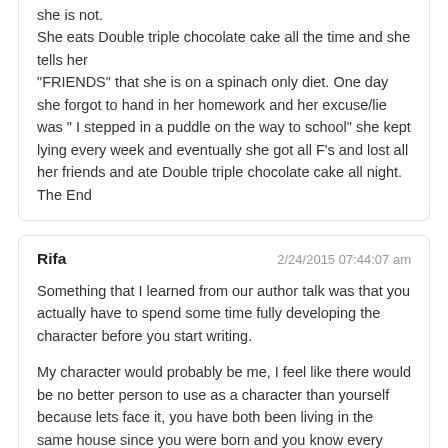she is not.
She eats Double triple chocolate cake all the time and she tells her
"FRIENDS" that she is on a spinach only diet. One day she forgot to hand in her homework and her excuse/lie was " I stepped in a puddle on the way to school" she kept lying every week and eventually she got all F's and lost all her friends and ate Double triple chocolate cake all night.
The End
Rifa
2/24/2015 07:44:07 am
Something that I learned from our author talk was that you actually have to spend some time fully developing the character before you start writing.
My character would probably be me, I feel like there would be no better person to use as a character than yourself because lets face it, you have both been living in the same house since you were born and you know every little secret about each other but for this we had to make a character so I made up one!